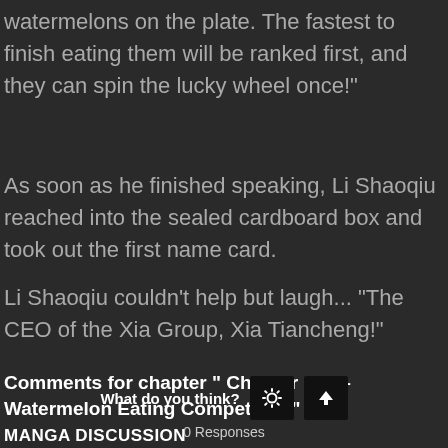watermelons on the plate. The fastest to finish eating them will be ranked first, and they can spin the lucky wheel once!"
As soon as he finished speaking, Li Shaoqiu reached into the sealed cardboard box and took out the first name card.
Li Shaoqiu couldn't help but laugh... "The CEO of the Xia Group, Xia Tiancheng!"
Comments for chapter " Chapter 666 - Watermelon Eating Competition"
MANGA DISCUSSION
What do you think?
0 Responses